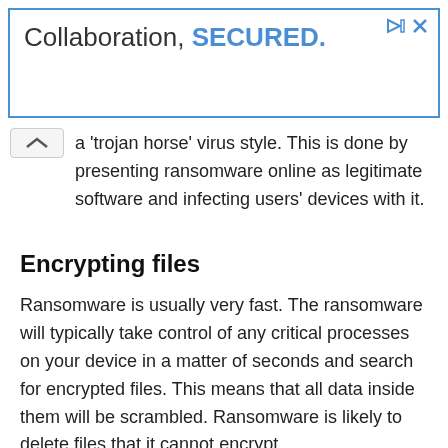[Figure (screenshot): Advertisement banner with blue border reading 'Collaboration, SECURED.' with play and close icons in the top-right corner]
a 'trojan horse' virus style. This is done by presenting ransomware online as legitimate software and infecting users' devices with it.
Encrypting files
Ransomware is usually very fast. The ransomware will typically take control of any critical processes on your device in a matter of seconds and search for encrypted files. This means that all data inside them will be scrambled. Ransomware is likely to delete files that it cannot encrypt.
Ransomware can then infect all other USB devices or hard drives connected to the infected host computer.